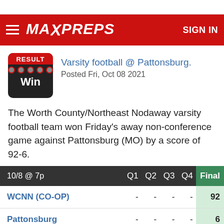MaxPreps — SIGN IN
Varsity football @ Pattonsburg.
Posted Fri, Oct 08 2021
The Worth County/Northeast Nodaway varsity football team won Friday's away non-conference game against Pattonsburg (MO) by a score of 92-6.
| 10/8 @ 7p | Q1 | Q2 | Q3 | Q4 | Final |
| --- | --- | --- | --- | --- | --- |
| WCNN (CO-OP) | - | - | - | - | 92 |
| Pattonsburg | - | - | - | - | 6 |
Box score